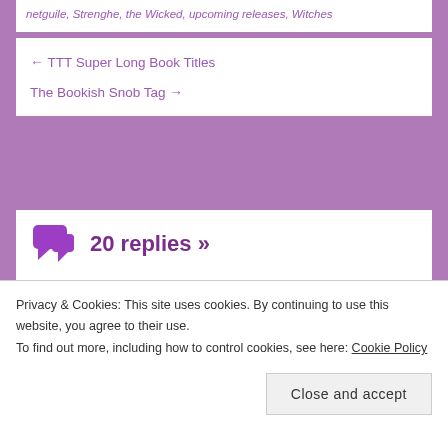netguile, Strenghe, the Wicked, upcoming releases, Witches
← TTT Super Long Book Titles
The Bookish Snob Tag →
20 replies »
Fazila Reads
October 14, 2020 at 7:26 am
Privacy & Cookies: This site uses cookies. By continuing to use this website, you agree to their use.
To find out more, including how to control cookies, see here: Cookie Policy
Close and accept